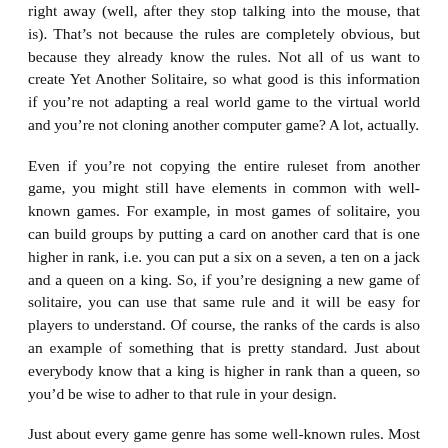right away (well, after they stop talking into the mouse, that is). That's not because the rules are completely obvious, but because they already know the rules. Not all of us want to create Yet Another Solitaire, so what good is this information if you're not adapting a real world game to the virtual world and you're not cloning another computer game? A lot, actually.
Even if you're not copying the entire ruleset from another game, you might still have elements in common with well-known games. For example, in most games of solitaire, you can build groups by putting a card on another card that is one higher in rank, i.e. you can put a six on a seven, a ten on a jack and a queen on a king. So, if you're designing a new game of solitaire, you can use that same rule and it will be easy for players to understand. Of course, the ranks of the cards is also an example of something that is pretty standard. Just about everybody know that a king is higher in rank than a queen, so you'd be wise to adher to that rule in your design.
Just about every game genre has some well-known rules. Most players of first-person shooters know that shooting a barrel will result in an explosion, while shooting a crate will not (unless you use the rocket launcher, of course). That rule is quite arbitrary, but players know it and, as a designer, you should make use of that. The result is that the learning curve doesn't just get shallower, it actually start higher up. The player will have an understanding,